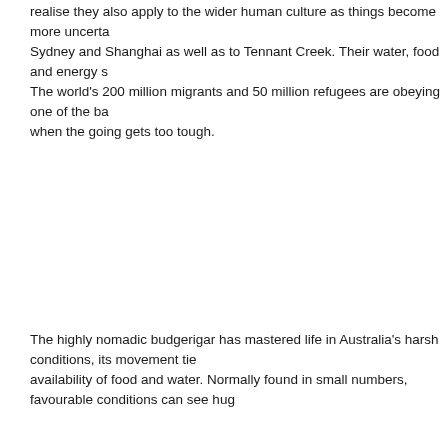realise they also apply to the wider human culture as things become more uncertain. Sydney and Shanghai as well as to Tennant Creek. Their water, food and energy s... The world's 200 million migrants and 50 million refugees are obeying one of the ba... when the going gets too tough.
The highly nomadic budgerigar has mastered life in Australia's harsh conditions, its movement tie... availability of food and water. Normally found in small numbers, favourable conditions can see hug...